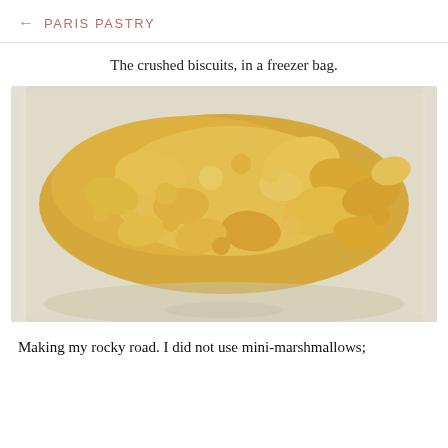PARIS PASTRY
The crushed biscuits, in a freezer bag.
[Figure (photo): Crushed golden biscuits inside a clear plastic freezer bag, viewed from above. The crumbs vary in size from fine powder to larger chunks.]
Making my rocky road. I did not use mini-marshmallows;